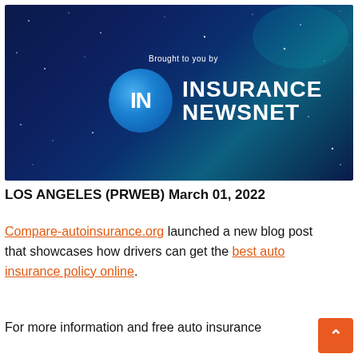[Figure (photo): Insurance NewsNet branded banner/video thumbnail with dark blue starry space background, circular blue 'IN' logo, text 'Brought to you by INSURANCE NEWSNET']
LOS ANGELES (PRWEB) March 01, 2022
Compare-autoinsurance.org launched a new blog post that showcases how drivers can get the best auto insurance policy online.
For more information and free auto insurance